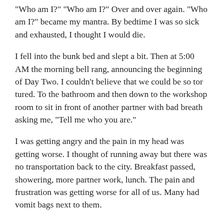“Who am I?” “Who am I?” Over and over again. “Who am I?” became my mantra. By bedtime I was so sick and exhausted, I thought I would die.
I fell into the bunk bed and slept a bit. Then at 5:00 AM the morning bell rang, announcing the beginning of Day Two. I couldn’t believe that we could be so tor tured. To the bathroom and then down to the workshop room to sit in front of another partner with bad breath asking me, “Tell me who you are.”
I was getting angry and the pain in my head was getting worse. I thought of running away but there was no transportation back to the city. Breakfast passed, showering, more partner work, lunch. The pain and frustration was getting worse for all of us. Many had vomit bags next to them.